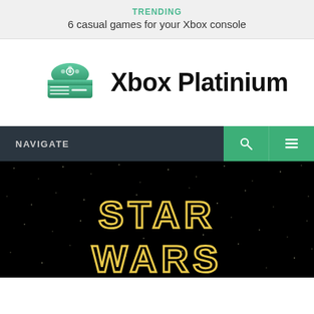TRENDING
6 casual games for your Xbox console
[Figure (logo): Xbox Platinium logo with teal Xbox console/controller icon and bold black text reading 'Xbox Platinium']
NAVIGATE
[Figure (screenshot): Star Wars logo text in yellow outline font on black starfield background]